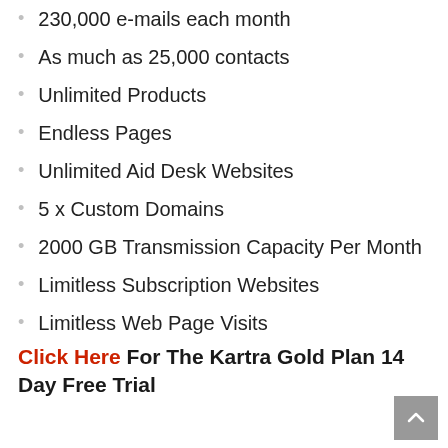230,000 e-mails each month
As much as 25,000 contacts
Unlimited Products
Endless Pages
Unlimited Aid Desk Websites
5 x Custom Domains
2000 GB Transmission Capacity Per Month
Limitless Subscription Websites
Limitless Web Page Visits
Click Here For The Kartra Gold Plan 14 Day Free Trial